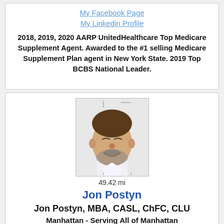My Facebook Page
My Linkedin Profile
2018, 2019, 2020 AARP UnitedHealthcare Top Medicare Supplement Agent. Awarded to the #1 selling Medicare Supplement Plan agent in New York State. 2019 Top BCBS National Leader.
[Figure (photo): Headshot photo of Jon Postyn, a middle-aged man with beard, smiling, wearing white shirt]
49.42 mi
Jon Postyn
Jon Postyn, MBA, CASL, ChFC, CLU
Manhattan - Serving All of Manhattan
917-572-4977 or 917-572-4977 (Mobile)
Email Me
Visit My Website